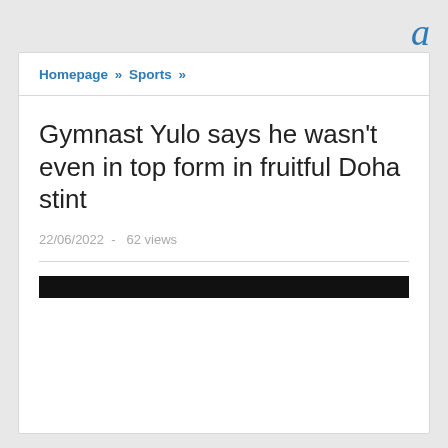a
Homepage » Sports »
Gymnast Yulo says he wasn't even in top form in fruitful Doha stint
22/06/2022  -  62 views
[Figure (photo): Dark/black image strip, partially showing a sports scene]